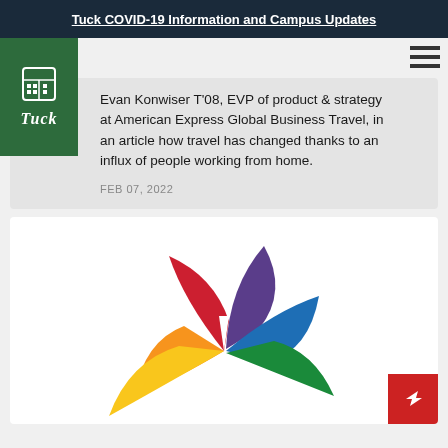Tuck COVID-19 Information and Campus Updates
Evan Konwiser T'08, EVP of product & strategy at American Express Global Business Travel, in an article how travel has changed thanks to an influx of people working from home.
FEB 07, 2022
[Figure (logo): NBC peacock logo with colorful feathers: orange, red, purple, blue, green, yellow]